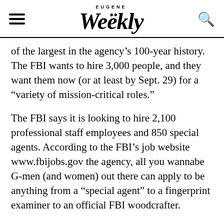EUGENE weekly
of the largest in the agency's 100-year history. The FBI wants to hire 3,000 people, and they want them now (or at least by Sept. 29) for a “variety of mission-critical roles.”
The FBI says it is looking to hire 2,100 professional staff employees and 850 special agents. According to the FBI’s job website www.fbijobs.gov the agency, all you wannabe G-men (and women) out there can apply to be anything from a “special agent” to a fingerprint examiner to an official FBI woodcrafter.
The FBI’s assistant director of human